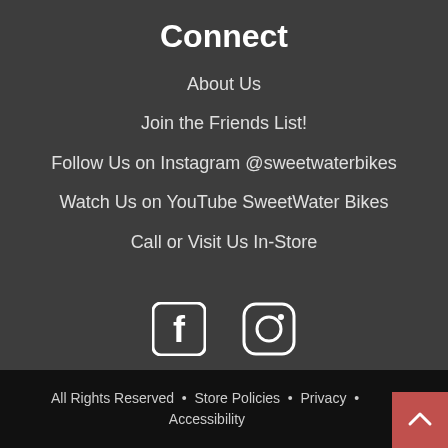Connect
About Us
Join the Friends List!
Follow Us on Instagram @sweetwaterbikes
Watch Us on YouTube SweetWater Bikes
Call or Visit Us In-Store
[Figure (logo): Facebook and Instagram social media icons in white on dark background]
All Rights Reserved • Store Policies • Privacy • Accessibility